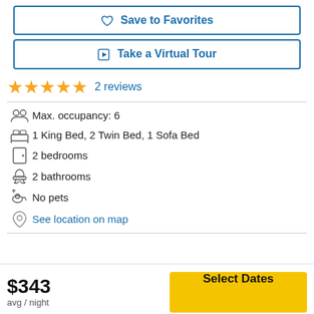Save to Favorites
Take a Virtual Tour
★★★★★ 2 reviews
Max. occupancy: 6
1 King Bed, 2 Twin Bed, 1 Sofa Bed
2 bedrooms
2 bathrooms
No pets
See location on map
$343 avg / night
Select Dates